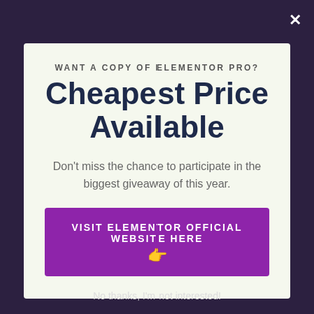×
WANT A COPY OF ELEMENTOR PRO?
Cheapest Price Available
Don't miss the chance to participate in the biggest giveaway of this year.
VISIT ELEMENTOR OFFICIAL WEBSITE HERE 👈
No thanks, I'm not interested!